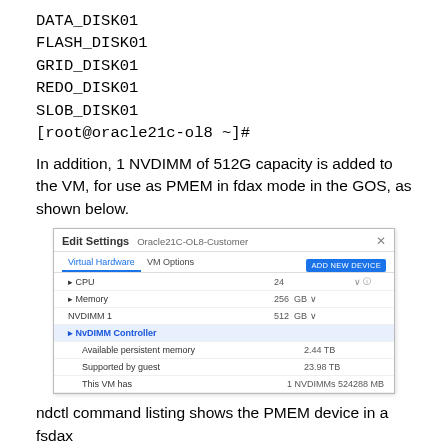DATA_DISK01
FLASH_DISK01
GRID_DISK01
REDO_DISK01
SLOB_DISK01
[root@oracle21c-ol8 ~]#
In addition, 1 NVDIMM of 512G capacity is added to the VM, for use as PMEM in fdax mode in the GOS, as shown below.
[Figure (screenshot): Edit Settings dialog for Oracle21C-OL8-Customer VM showing Virtual Hardware tab. Rows include CPU (24), Memory (256 GB), NVDIMM1 (512 GB), NVDIMM Controller (highlighted in blue), Available persistent memory (2.44 TB), Supported by guest (23.98 TB), This VM has (1 NVDIMMs 524288 MB).]
ndctl command listing shows the PMEM device in a fsdax